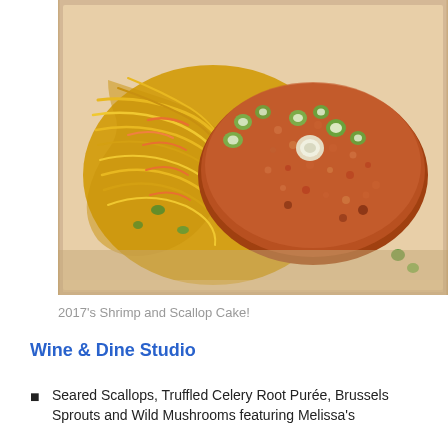[Figure (photo): A takeout box containing yellow noodles with carrots and vegetables, topped with a breaded shrimp and scallop cake garnished with sliced green onions.]
2017's Shrimp and Scallop Cake!
Wine & Dine Studio
Seared Scallops, Truffled Celery Root Purée, Brussels Sprouts and Wild Mushrooms featuring Melissa's